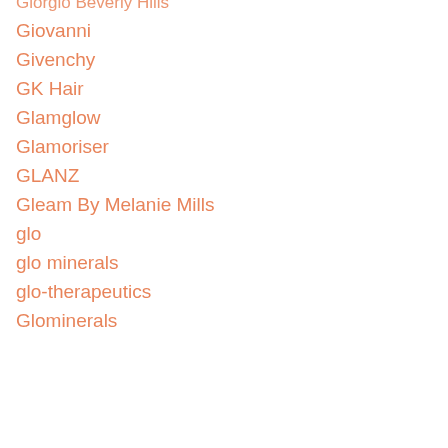Giorgio Beverly Hills
Giovanni
Givenchy
GK Hair
Glamglow
Glamoriser
GLANZ
Gleam By Melanie Mills
glo
glo minerals
glo-therapeutics
Glominerals